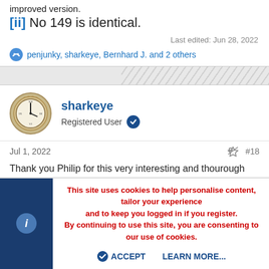improved version.
[ii] No 149 is identical.
Last edited: Jun 28, 2022
penjunky, sharkeye, Bernhard J. and 2 others
sharkeye
Registered User
Jul 1, 2022    #18
Thank you Philip for this very interesting and thourough information!
The inner dustcover (if it ever existed) has unfortunately been
This site uses cookies to help personalise content, tailor your experience and to keep you logged in if you register.
By continuing to use this site, you are consenting to our use of cookies.
ACCEPT    LEARN MORE...